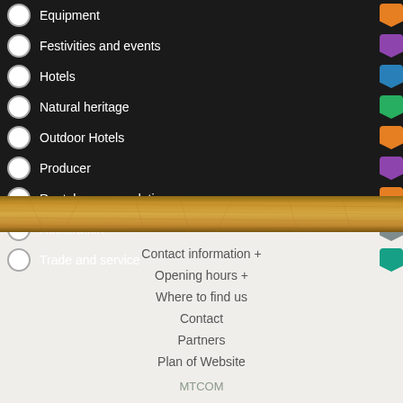Equipment
Festivities and events
Hotels
Natural heritage
Outdoor Hotels
Producer
Rental accommodation
Restoration
Trade and service
[Figure (photo): Straw field texture banner]
Contact information +
Opening hours +
Where to find us
Contact
Partners
Plan of Website
MTCOM